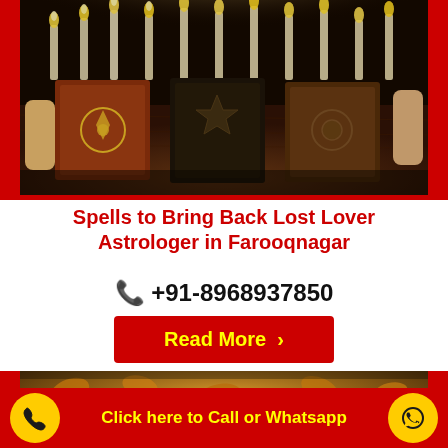[Figure (photo): Dark atmospheric photo of three ancient grimoire books with mystical symbols on their covers, surrounded by multiple lit white candles on a wooden table in dim lighting]
Spells to Bring Back Lost Lover Astrologer in Farooqnagar
📞 +91-8968937850
Read More ›
[Figure (photo): Partially visible outdoor autumn scene with warm golden tones, showing a person with a dark hat]
Click here to Call or Whatsapp